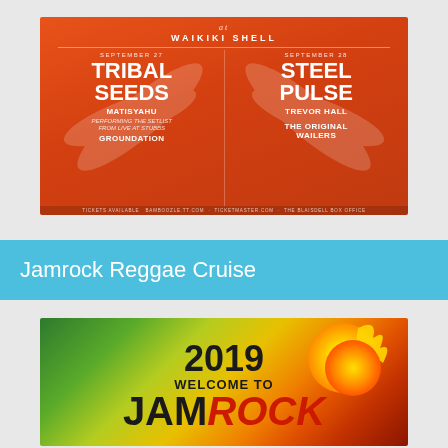[Figure (illustration): Concert poster for Waikiki Shell events. September 27: Tribal Seeds with Matisyahu (performing the setlist from Live at Stubbs) and Groundation. September 28: Steel Pulse with Trevor Hall and The Original Wailers. Orange background with decorative leaf design.]
Jamrock Reggae Cruise
[Figure (illustration): 2019 Welcome to Jamrock Reggae Cruise promotional poster with green, yellow, and red gradient background and a sun/flame graphic. Text reads '2019 Welcome to JAMRock' in large bold letters.]